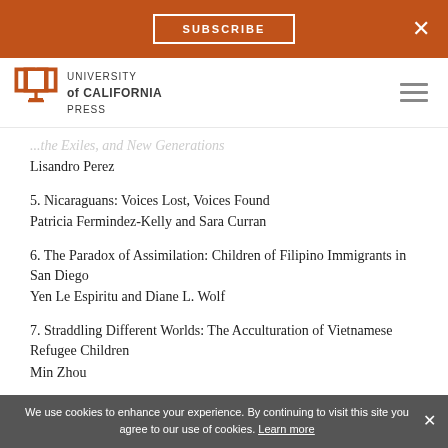SUBSCRIBE
[Figure (logo): University of California Press logo with open book icon and text]
...the Exiles, and New Generations
Lisandro Perez
5. Nicaraguans: Voices Lost, Voices Found
Patricia Fermindez-Kelly and Sara Curran
6. The Paradox of Assimilation: Children of Filipino Immigrants in San Diego
Yen Le Espiritu and Diane L. Wolf
7. Straddling Different Worlds: The Acculturation of Vietnamese Refugee Children
Min Zhou
We use cookies to enhance your experience. By continuing to visit this site you agree to our use of cookies. Learn more